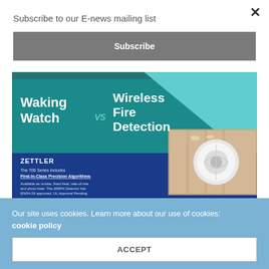Subscribe to our E-news mailing list
Subscribe
×
[Figure (illustration): Advertisement for Zettler 700 Series wireless fire detection. Shows 'Waking Watch vs Wireless Fire Detection' headline on a teal/blue background with a smoke detector image and interior retail space photo. Text: ZETTLER. The 700 Series includes First-In-Class Precision Algorithms. Available as smoke, fixed heat, rate-of-rise and photo heat. The 200PH Detector has ENi54-29 approved, UL Approval Pending. The power behind your mission. Johnson Controls logo. Click here to find out more.]
Our site uses cookies. Learn more about our use of cookies: cookie policy
ACCEPT